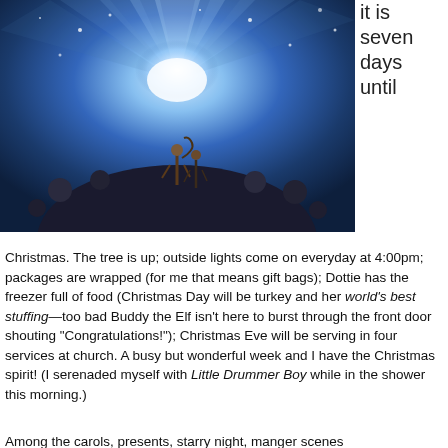it is seven days until
[Figure (illustration): Animated scene showing a figure standing on a dark spherical object with glowing blue light rays emanating upward, star-like sparkles in the background, resembling a Christmas movie still]
Christmas. The tree is up; outside lights come on everyday at 4:00pm; packages are wrapped (for me that means gift bags); Dottie has the freezer full of food (Christmas Day will be turkey and her world's best stuffing—too bad Buddy the Elf isn't here to burst through the front door shouting “Congratulations!”); Christmas Eve will be serving in four services at church. A busy but wonderful week and I have the Christmas spirit! (I serenaded myself with Little Drummer Boy while in the shower this morning.)
Among the carols, presents, starry night, manger scenes